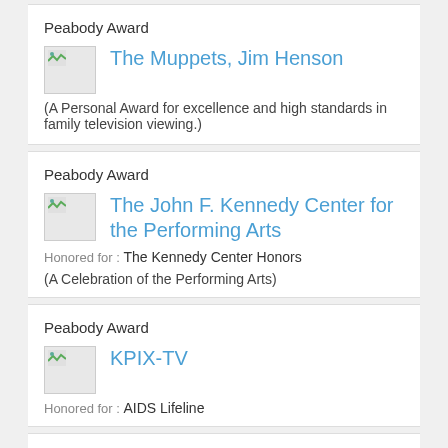Peabody Award
The Muppets, Jim Henson
(A Personal Award for excellence and high standards in family television viewing.)
Peabody Award
The John F. Kennedy Center for the Performing Arts
Honored for : The Kennedy Center Honors
(A Celebration of the Performing Arts)
Peabody Award
KPIX-TV
Honored for : AIDS Lifeline
Peabody Award